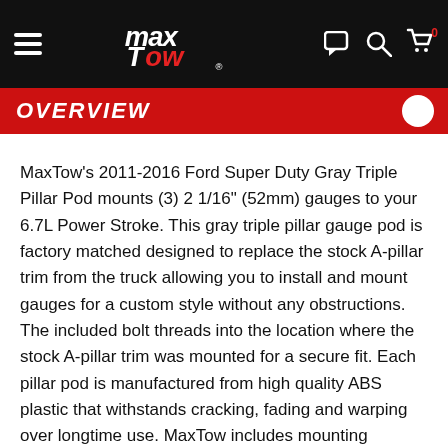MaxTow navigation bar with logo, hamburger menu, chat, search, and cart icons
OVERVIEW
MaxTow's 2011-2016 Ford Super Duty Gray Triple Pillar Pod mounts (3) 2 1/16" (52mm) gauges to your 6.7L Power Stroke. This gray triple pillar gauge pod is factory matched designed to replace the stock A-pillar trim from the truck allowing you to install and mount gauges for a custom style without any obstructions. The included bolt threads into the location where the stock A-pillar trim was mounted for a secure fit. Each pillar pod is manufactured from high quality ABS plastic that withstands cracking, fading and warping over longtime use. MaxTow includes mounting hardware, installation instructions, a one year limited warranty and free lifetime technical support with each purchase.